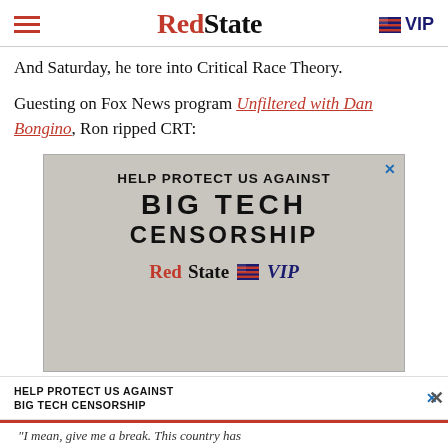RedState VIP
And Saturday, he tore into Critical Race Theory.
Guesting on Fox News program Unfiltered with Dan Bongino, Ron ripped CRT:
[Figure (infographic): Advertisement for RedState VIP: 'HELP PROTECT US AGAINST BIG TECH CENSORSHIP' with RedState VIP branding on a stone/concrete textured background.]
[Figure (infographic): Bottom banner advertisement: 'HELP PROTECT US AGAINST BIG TECH CENSORSHIP' on white background with close X button.]
"I mean, give me a break. This country has